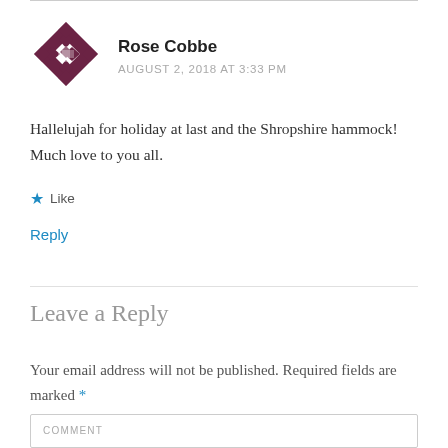[Figure (illustration): Decorative avatar icon: a dark burgundy/maroon geometric quilt-like pattern in a square shape with diamond/star motifs]
Rose Cobbe
AUGUST 2, 2018 AT 3:33 PM
Hallelujah for holiday at last and the Shropshire hammock! Much love to you all.
★ Like
Reply
Leave a Reply
Your email address will not be published. Required fields are marked *
COMMENT